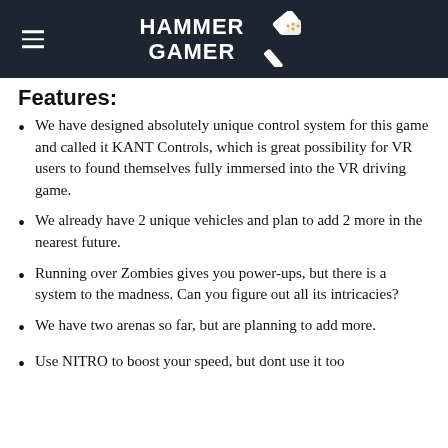HAMMER GAMER
Features:
We have designed absolutely unique control system for this game and called it KANT Controls, which is great possibility for VR users to found themselves fully immersed into the VR driving game.
We already have 2 unique vehicles and plan to add 2 more in the nearest future.
Running over Zombies gives you power-ups, but there is a system to the madness. Can you figure out all its intricacies?
We have two arenas so far, but are planning to add more.
Use NITRO to boost your speed, but dont use it too